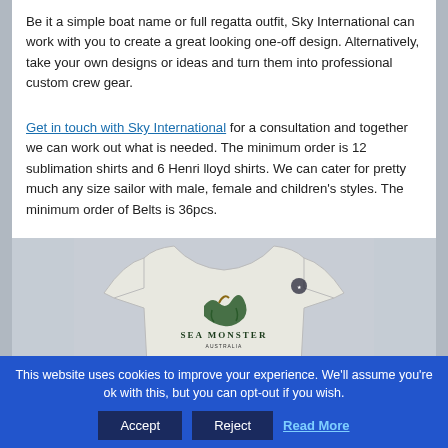Be it a simple boat name or full regatta outfit, Sky International can work with you to create a great looking one-off design. Alternatively, take your own designs or ideas and turn them into professional custom crew gear.
Get in touch with Sky International for a consultation and together we can work out what is needed. The minimum order is 12 sublimation shirts and 6 Henri lloyd shirts. We can cater for pretty much any size sailor with male, female and children's styles. The minimum order of Belts is 36pcs.
[Figure (photo): Back view of a white long-sleeve sailing shirt with 'Sea Monster' logo printed on the back, displayed against a grey background.]
This website uses cookies to improve your experience. We'll assume you're ok with this, but you can opt-out if you wish.